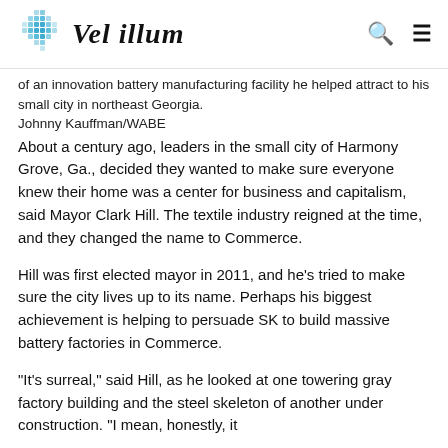Vel illum
of an innovation battery manufacturing facility he helped attract to his small city in northeast Georgia.
Johnny Kauffman/WABE
About a century ago, leaders in the small city of Harmony Grove, Ga., decided they wanted to make sure everyone knew their home was a center for business and capitalism, said Mayor Clark Hill. The textile industry reigned at the time, and they changed the name to Commerce.
Hill was first elected mayor in 2011, and he's tried to make sure the city lives up to its name. Perhaps his biggest achievement is helping to persuade SK to build massive battery factories in Commerce.
“It’s surreal,” said Hill, as he looked at one towering gray factory building and the steel skeleton of another under construction. “I mean, honestly, it